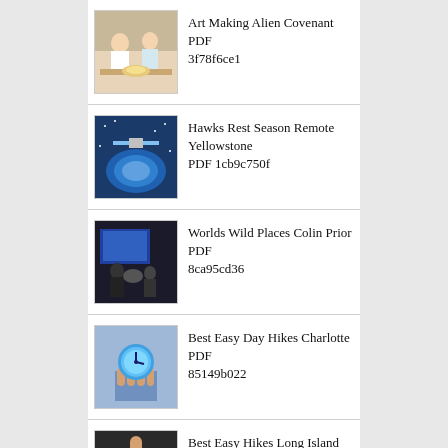Art Making Alien Covenant PDF 3f78f6ce1
Hawks Rest Season Remote Yellowstone PDF 1cb9c750f
Worlds Wild Places Colin Prior PDF 8ca95cd36
Best Easy Day Hikes Charlotte PDF 85149b022
Best Easy Hikes Long Island PDF 55deaae2c
Marrow Tarryn Fisher PDF 44933d8ba